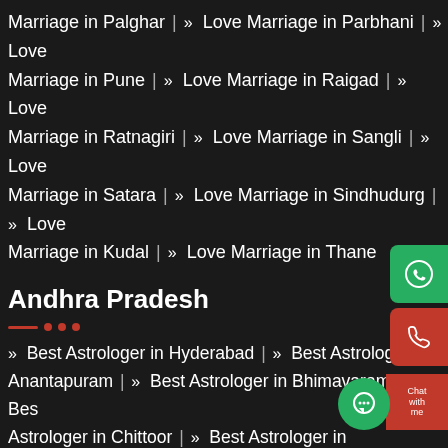Marriage in Palghar | » Love Marriage in Parbhani | » Love Marriage in Pune | » Love Marriage in Raigad | » Love Marriage in Ratnagiri | » Love Marriage in Sangli | » Love Marriage in Satara | » Love Marriage in Sindhudurg | » Love Marriage in Kudal | » Love Marriage in Thane
Andhra Pradesh
» Best Astrologer in Hyderabad | » Best Astrologer in Anantapuram | » Best Astrologer in Bhimavaram | » Best Astrologer in Chittoor | » Best Astrologer in Dharmavaram | » Best Astrologer in Eluru | » Best Astrologer in Guntur | » Best Astrologer in Guntakal | » Best Astrologer in Gudivada | » Best Astrologer in Hindupur | » Best Astrologer in K... | » Best Astrologer in Kadapa | » Best Astrologer in Mad... | » Best Astrologer in Machilipatnam | » Best Astrologer...